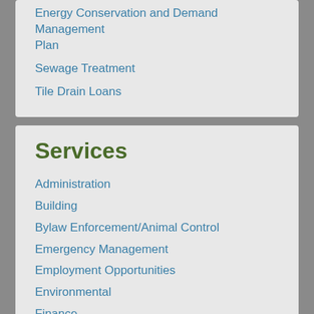Energy Conservation and Demand Management Plan
Sewage Treatment
Tile Drain Loans
Services
Administration
Building
Bylaw Enforcement/Animal Control
Emergency Management
Employment Opportunities
Environmental
Finance
Fire Services